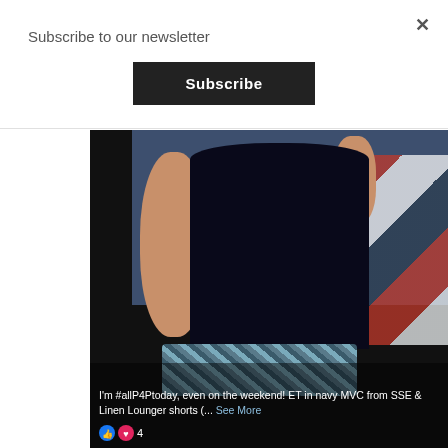Subscribe to our newsletter
Subscribe
[Figure (photo): A person wearing a navy tank top and patterned linen shorts standing in a bedroom. The image has a Facebook post overlay at the bottom reading: I'm #allP4Ptoday, even on the weekend! ET in navy MVC from SSE & Linen Lounger shorts (... See More. Below the text are reaction icons (like and heart) with the number 4.]
I'm #allP4Ptoday, even on the weekend!  ET in navy MVC from SSE & Linen Lounger shorts (... See More
4